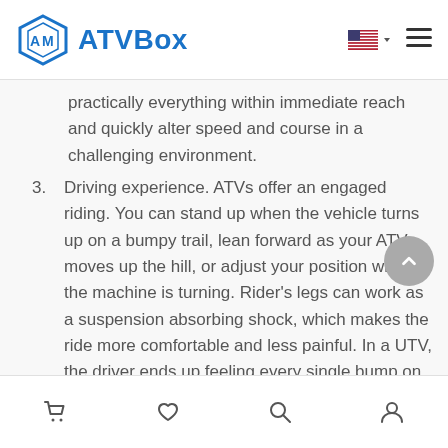ATVBox
practically everything within immediate reach and quickly alter speed and course in a challenging environment.
3. Driving experience. ATVs offer an engaged riding. You can stand up when the vehicle turns up on a bumpy trail, lean forward as your ATV moves up the hill, or adjust your position whilst the machine is turning. Rider's legs can work as a suspension absorbing shock, which makes the ride more comfortable and less painful. In a UTV, the driver ends up feeling every single bump on the trail.
Cart | Wishlist | Search | Account